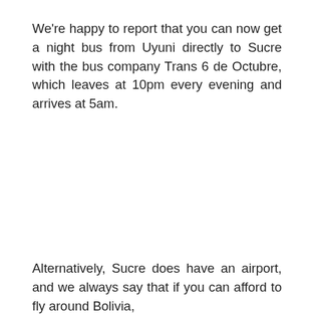We're happy to report that you can now get a night bus from Uyuni directly to Sucre with the bus company Trans 6 de Octubre, which leaves at 10pm every evening and arrives at 5am.
Alternatively, Sucre does have an airport, and we always say that if you can afford to fly around Bolivia,